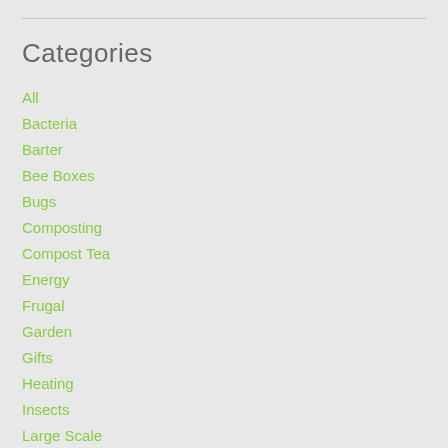Categories
All
Bacteria
Barter
Bee Boxes
Bugs
Composting
Compost Tea
Energy
Frugal
Garden
Gifts
Heating
Insects
Large Scale
Lawn Care
Manure